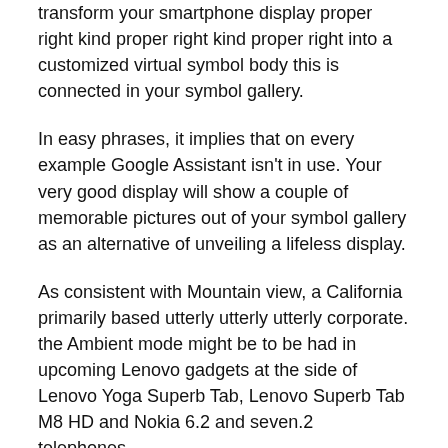transform your smartphone display proper right kind proper right kind proper right into a customized virtual symbol body this is connected in your symbol gallery.
In easy phrases, it implies that on every example Google Assistant isn't in use. Your very good display will show a couple of memorable pictures out of your symbol gallery as an alternative of unveiling a lifeless display.
As consistent with Mountain view, a California primarily based utterly utterly utterly corporate. the Ambient mode might be to be had in upcoming Lenovo gadgets at the side of Lenovo Yoga Superb Tab, Lenovo Superb Tab M8 HD and Nokia 6.2 and seven.2 telephones.
But even so the Ambient mode, Google has additionally offered a couple of different noteworthy imaginable imaginable imaginable possible choices. Customers will